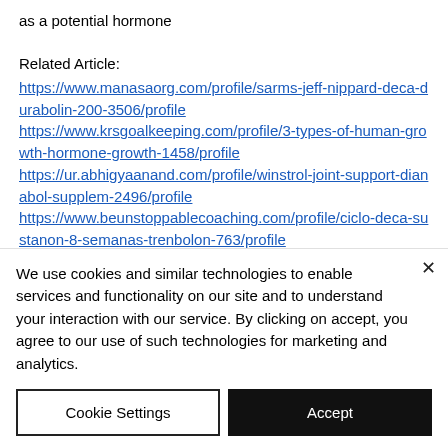as a potential hormone
Related Article:
https://www.manasaorg.com/profile/sarms-jeff-nippard-deca-durabolin-200-3506/profile
https://www.krsgoalkeeping.com/profile/3-types-of-human-growth-hormone-growth-1458/profile
https://ur.abhigyaanand.com/profile/winstrol-joint-support-dianabol-supplem-2496/profile
https://www.beunstoppablecoaching.com/profile/ciclo-deca-sustanon-8-semanas-trenbolon-763/profile
We use cookies and similar technologies to enable services and functionality on our site and to understand your interaction with our service. By clicking on accept, you agree to our use of such technologies for marketing and analytics.
Cookie Settings
Accept